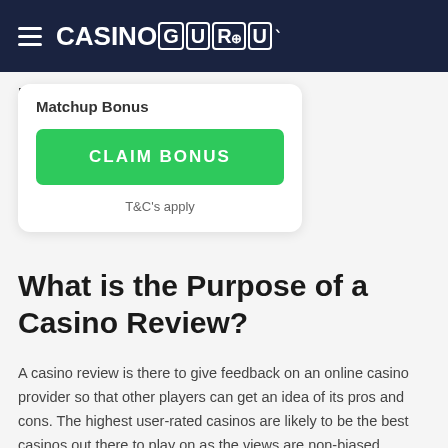CASINO GURU
Matchup Bonus
CLAIM BONUS
T&C's apply
What is the Purpose of a Casino Review?
A casino review is there to give feedback on an online casino provider so that other players can get an idea of its pros and cons. The highest user-rated casinos are likely to be the best casinos out there to play on as the views are non-biased, reliable and independent from the proprietor. When reading a